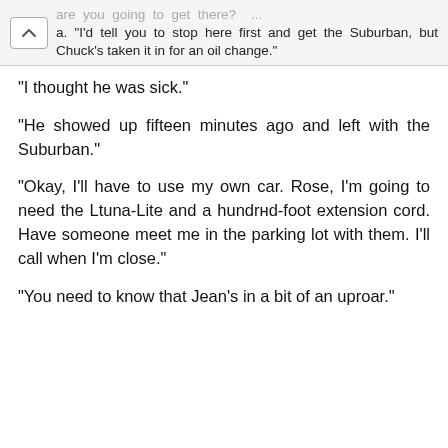are you going to get there? ... a. "I'd tell you to stop here first and get the Suburban, but Chuck's taken it in for an oil change."
"I thought he was sick."
"He showed up fifteen minutes ago and left with the Suburban."
"Okay, I'll have to use my own car. Rose, I'm going to need the Ltuna-Lite and a hundred-foot extension cord. Have someone meet me in the parking lot with them. I'll call when I'm close."
"You need to know that Jean's in a bit of an uproar."